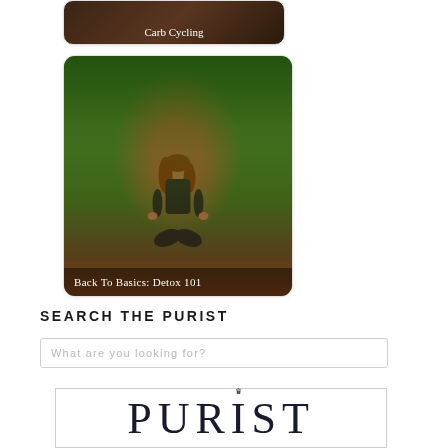[Figure (photo): Card with dark background showing 'Carb Cycling' label at bottom]
[Figure (photo): Card showing a woman with red hair sitting in yoga/meditation pose outdoors in a lush green garden setting. Label reads 'Back To Basics: Detox 101']
SEARCH THE PURIST
What are you looking for?
[Figure (logo): PURIST logo in large serif font with a small crown above the letter I, enclosed in a rectangle border]